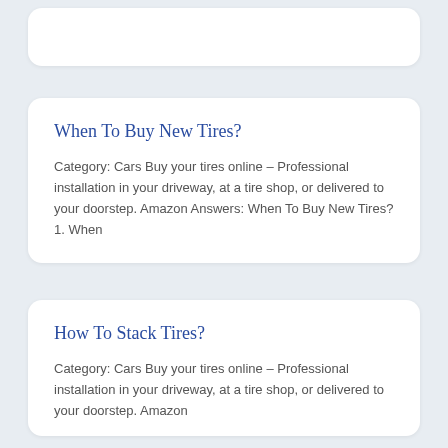…
When To Buy New Tires?
Category: Cars Buy your tires online – Professional installation in your driveway, at a tire shop, or delivered to your doorstep. Amazon Answers: When To Buy New Tires? 1. When
How To Stack Tires?
Category: Cars Buy your tires online – Professional installation in your driveway, at a tire shop, or delivered to your doorstep. Amazon